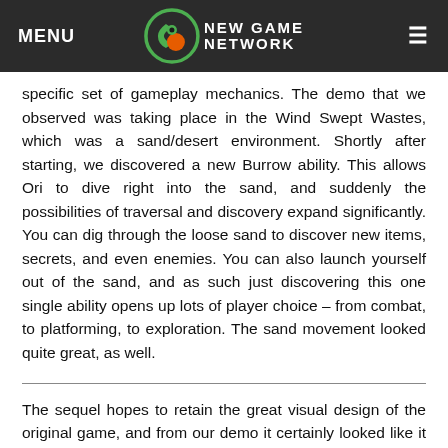MENU | NEW GAME NETWORK | ☰
specific set of gameplay mechanics. The demo that we observed was taking place in the Wind Swept Wastes, which was a sand/desert environment. Shortly after starting, we discovered a new Burrow ability. This allows Ori to dive right into the sand, and suddenly the possibilities of traversal and discovery expand significantly. You can dig through the loose sand to discover new items, secrets, and even enemies. You can also launch yourself out of the sand, and as such just discovering this one single ability opens up lots of player choice – from combat, to platforming, to exploration. The sand movement looked quite great, as well.
The sequel hopes to retain the great visual design of the original game, and from our demo it certainly looked like it will pull that off. The visuals and art design are fantastic once again, and the developers touched on how they've added a